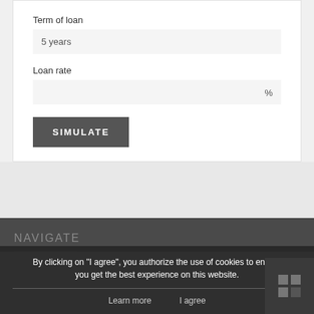Term of loan
5 years
Loan rate
%
SIMULATE
NAVIGATE
By clicking on "I agree", you authorize the use of cookies to ensure you get the best experience on this website.
Learn more
I agree